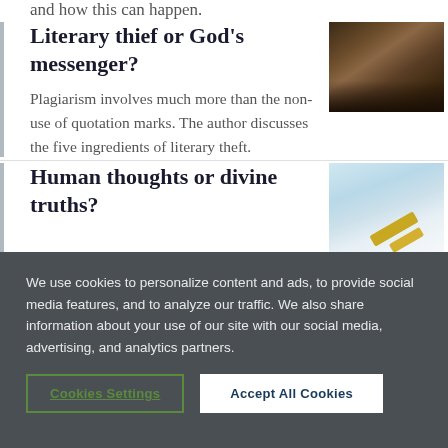and how this can happen.
Literary thief or God's messenger?
[Figure (photo): Person reading an open book, hands visible on wooden table, dark atmospheric lighting]
Plagiarism involves much more than the non-use of quotation marks. The author discusses the five ingredients of literary theft.
Human thoughts or divine truths?
[Figure (photo): Two pencils on a light blue/white background, soft focus]
We use cookies to personalize content and ads, to provide social media features, and to analyze our traffic. We also share information about your use of our site with our social media, advertising, and analytics partners.
Cookies Settings
Accept All Cookies